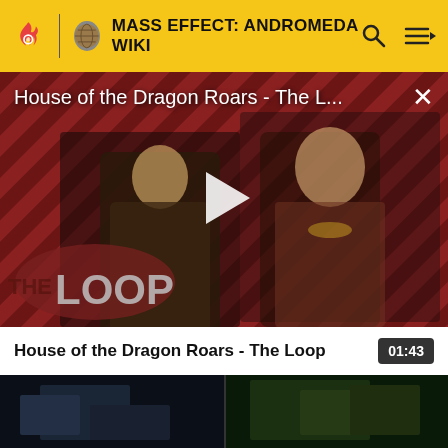MASS EFFECT: ANDROMEDA WIKI
[Figure (screenshot): Video player showing 'House of the Dragon Roars - The L...' with a play button overlay, diagonal striped red/dark background, two characters visible, and THE LOOP logo in lower left. A close (X) button is in top right.]
House of the Dragon Roars - The Loop
01:43
[Figure (screenshot): Second video thumbnail showing a dark scene with two panel images, partially visible.]